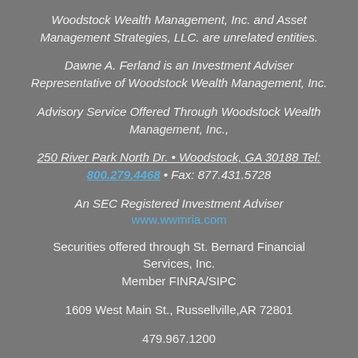Woodstock Wealth Management, Inc. and Asset Management Strategies, LLC. are unrelated entities.
Dawne A. Ferland is an Investment Adviser Representative of Woodstock Wealth Management, Inc.
Advisory Service Offered Through Woodstock Wealth Management, Inc.,
250 River Park North Dr. • Woodstock, GA 30188 Tel: 800.279.4468 • Fax: 877.431.5728
An SEC Registered Investment Adviser www.wwmria.com
Securities offered through St. Bernard Financial Services, Inc. Member FINRA/SIPC
1609 West Main St., Russellville,AR 72801
479.967.1200